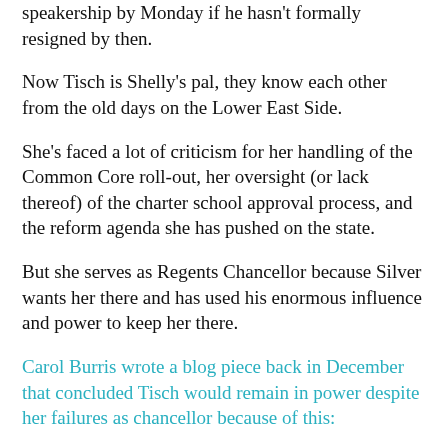speakership by Monday if he hasn't formally resigned by then.
Now Tisch is Shelly's pal, they know each other from the old days on the Lower East Side.
She's faced a lot of criticism for her handling of the Common Core roll-out, her oversight (or lack thereof) of the charter school approval process, and the reform agenda she has pushed on the state.
But she serves as Regents Chancellor because Silver wants her there and has used his enormous influence and power to keep her there.
Carol Burris wrote a blog piece back in December that concluded Tisch would remain in power despite her failures as chancellor because of this:
Given the current system of appointment, Merryl Tisch, who has wealth and deep political connections, will likely remain in power. She is